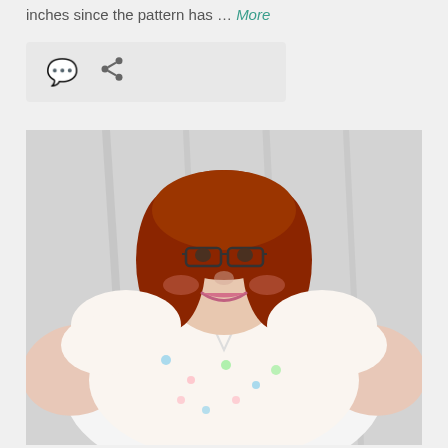inches since the pattern has … More
[Figure (photo): Woman with red hair and glasses wearing a white floral wrap-style top, smiling, hands on hips, standing in front of a light curtain backdrop.]